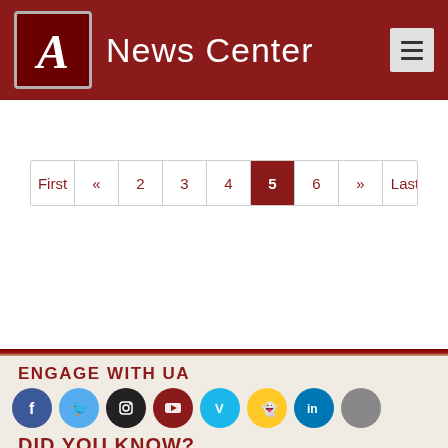A News Center
First « 2 3 4 5 6 » Last
ENGAGE WITH UA
[Figure (infographic): Row of social media icons: Facebook (blue), Twitter (light blue), Instagram (black), YouTube (dark red), Vimeo (teal), Snapchat (yellow), LinkedIn (blue), Apple (grey)]
DID YOU KNOW?
At 38,103 students, UA's enrollment surpassed 38,000 for the